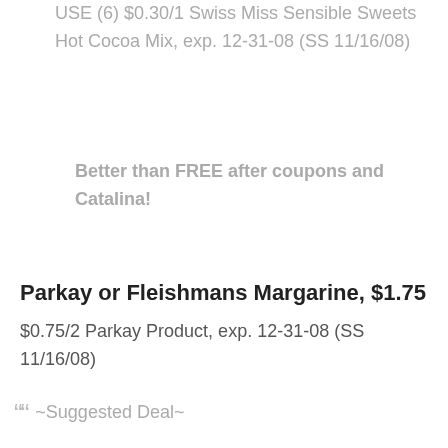USE (6) $0.30/1 Swiss Miss Sensible Sweets Hot Cocoa Mix, exp. 12-31-08 (SS 11/16/08)
Better than FREE after coupons and Catalina!
Parkay or Fleishmans Margarine, $1.75
$0.75/2 Parkay Product, exp. 12-31-08 (SS 11/16/08)
““ ~Suggested Deal~